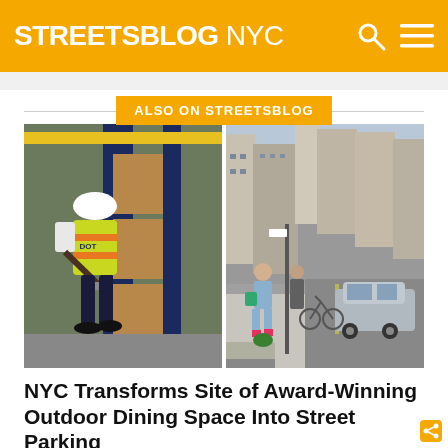STREETSBLOG NYC
ALSO ON STREETSBLOG
[Figure (photo): Side-by-side photos: left shows a construction worker in a yellow safety vest and white hard hat using a tool on a blue door/structure; right shows a busy NYC street scene with pedestrians and parked cars.]
NYC Transforms Site of Award-Winning Outdoor Dining Space Into Street Parking